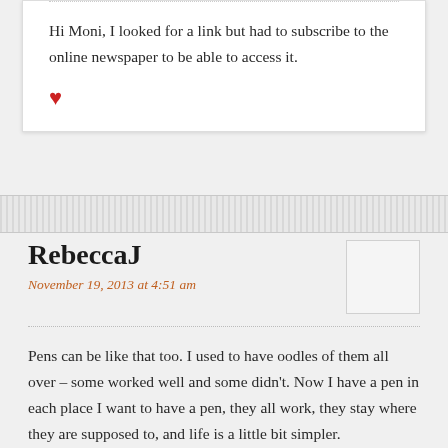Hi Moni, I looked for a link but had to subscribe to the online newspaper to be able to access it.
♥
RebeccaJ
November 19, 2013 at 4:51 am
Pens can be like that too. I used to have oodles of them all over – some worked well and some didn't. Now I have a pen in each place I want to have a pen, they all work, they stay where they are supposed to, and life is a little bit simpler.